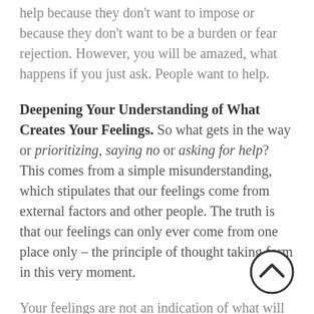help because they don't want to impose or because they don't want to be a burden or fear rejection. However, you will be amazed, what happens if you just ask. People want to help.
Deepening Your Understanding of What Creates Your Feelings. So what gets in the way or prioritizing, saying no or asking for help?  This comes from a simple misunderstanding, which stipulates that our feelings come from external factors and other people. The truth is that our feelings can only ever come from one place only – the principle of thought taking form in this very moment.
Your feelings are not an indication of what will happen in the future or what has happened in the past or how you will make others feel if you say no or ask for help. So fear, guilt or stress is just an indication that you are in those moods and that is
[Figure (other): A circular scroll-to-top button with an upward-pointing chevron arrow, outlined in dark grey/black.]